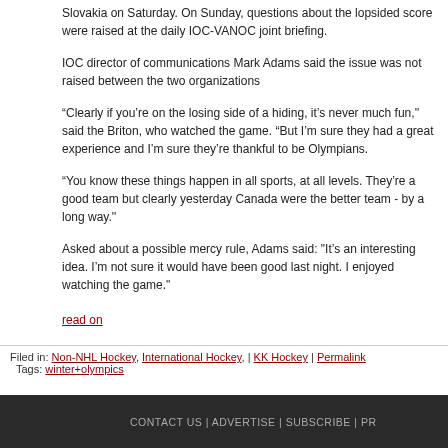Slovakia on Saturday. On Sunday, questions about the lopsided score were raised at the daily IOC-VANOC joint briefing.
IOC director of communications Mark Adams said the issue was not raised between the two organizations
“Clearly if you’re on the losing side of a hiding, it’s never much fun,'' said the Briton, who watched the game. “But I’m sure they had a great experience and I’m sure they’re thankful to be Olympians.
“You know these things happen in all sports, at all levels. They’re a good team but clearly yesterday Canada were the better team - by a long way.''
Asked about a possible mercy rule, Adams said: "It’s an interesting idea. I’m not sure it would have been good last night. I enjoyed watching the game."
read on
Filed in: Non-NHL Hockey, International Hockey, | KK Hockey | Permalink
Tags: winter+olympics
CONTACT US | ADVERTISE | SUBSCRIBE | PR...